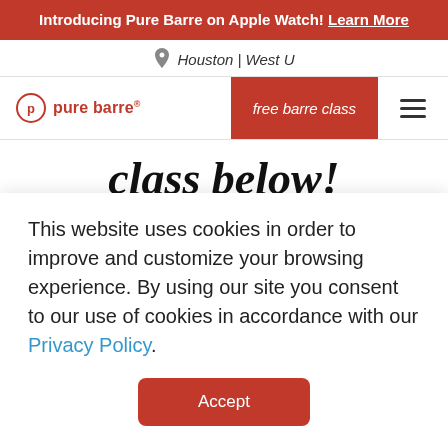Introducing Pure Barre on Apple Watch! Learn More
Houston | West U
pure barre® | free barre class
class below!
First name
This website uses cookies in order to improve and customize your browsing experience. By using our site you consent to our use of cookies in accordance with our Privacy Policy.
Accept